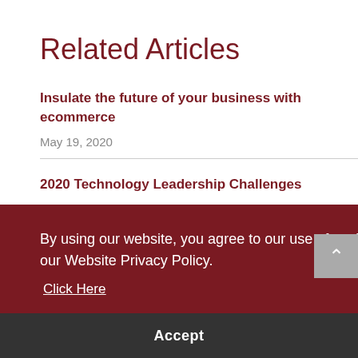Related Articles
Insulate the future of your business with ecommerce
May 19, 2020
2020 Technology Leadership Challenges
By using our website, you agree to our use of cookies. For more information, please consult our Website Privacy Policy.
Click Here
Accept